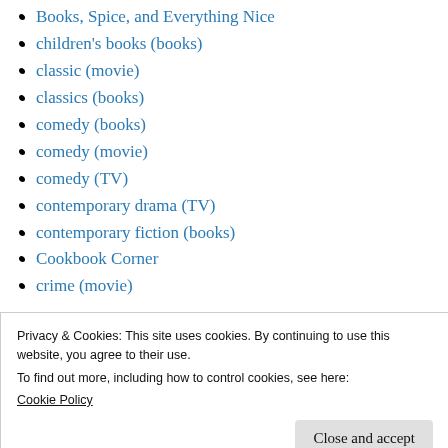Books, Spice, and Everything Nice
children's books (books)
classic (movie)
classics (books)
comedy (books)
comedy (movie)
comedy (TV)
contemporary drama (TV)
contemporary fiction (books)
Cookbook Corner
crime (movie)
Privacy & Cookies: This site uses cookies. By continuing to use this website, you agree to their use.
To find out more, including how to control cookies, see here:
Cookie Policy
fantasy (books)